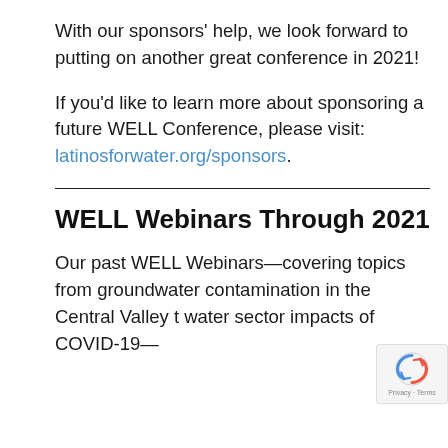With our sponsors' help, we look forward to putting on another great conference in 2021!
If you'd like to learn more about sponsoring a future WELL Conference, please visit: latinosforwater.org/sponsors.
WELL Webinars Through 2021
Our past WELL Webinars—covering topics from groundwater contamination in the Central Valley to water sector impacts of COVID-19—